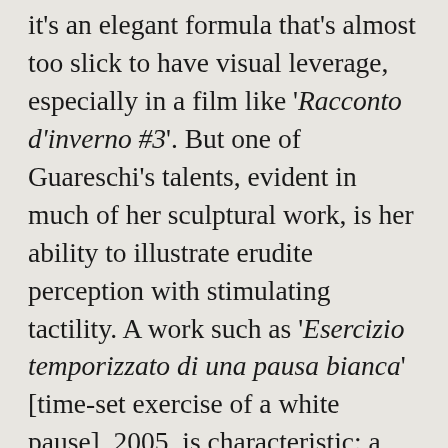it's an elegant formula that's almost too slick to have visual leverage, especially in a film like 'Racconto d'inverno #3'. But one of Guareschi's talents, evident in much of her sculptural work, is her ability to illustrate erudite perception with stimulating tactility. A work such as 'Esercizio temporizzato di una pausa bianca' [time-set exercise of a white pause], 2005, is characteristic: a printed colour wheel is mounted onto an electric motor that sits on top of an iron tripod. The motor, moderated by a timer that operates the device at random, sporadically, and momentarily, spins the amalgam of colours into a white disk. There are all sorts of allegories in this contraption. Whiteness (classical purity, clarity, a moment of supreme consciousness), is sprung on the viewer from a mass of ever-given colour at any given